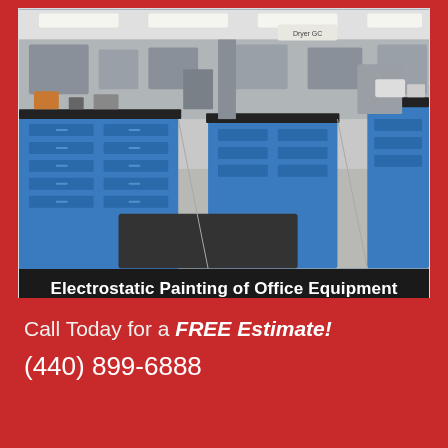[Figure (photo): Interior of a laboratory with blue modular cabinet workstations and black countertops, fluorescent overhead lighting, gray floor, various lab equipment on counters.]
Electrostatic Painting of Office Equipment
>> LEARN MORE
Call Today for a FREE Estimate!
(440) 899-6888